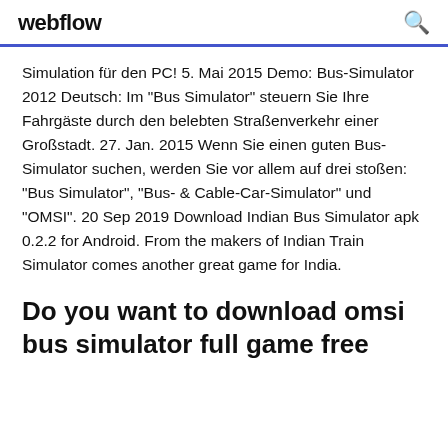webflow
Simulation für den PC! 5. Mai 2015 Demo: Bus-Simulator 2012 Deutsch: Im "Bus Simulator" steuern Sie Ihre Fahrgäste durch den belebten Straßenverkehr einer Großstadt. 27. Jan. 2015 Wenn Sie einen guten Bus-Simulator suchen, werden Sie vor allem auf drei stoßen: "Bus Simulator", "Bus- & Cable-Car-Simulator" und "OMSI". 20 Sep 2019 Download Indian Bus Simulator apk 0.2.2 for Android. From the makers of Indian Train Simulator comes another great game for India.
Do you want to download omsi bus simulator full game free